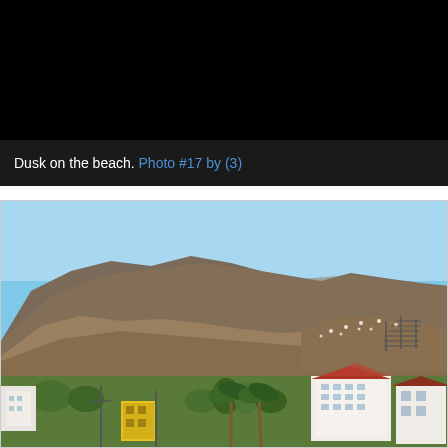[Figure (photo): Black rectangular area representing a photo of dusk on the beach (top, cropped/dark)]
Dusk on the beach. Photo #17 by (3)
[Figure (photo): Photograph of a coastal city with white buildings and palm trees in the foreground and large mountains with blue sky in the background, likely Puerto Vallarta, Mexico]